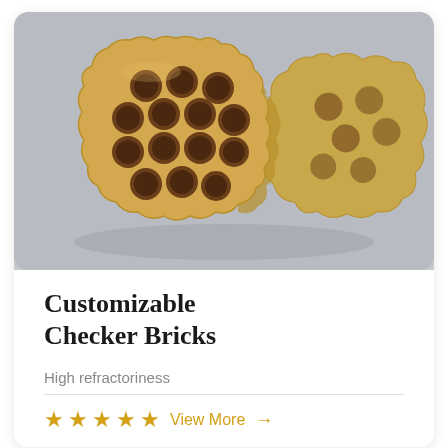[Figure (photo): A cylindrical checker brick made of refractory material, tan/yellow color, with a honeycomb pattern of circular holes on its face. Two pieces visible, photographed on a light gray background.]
Customizable Checker Bricks
High refractoriness
★★★★★ View More →